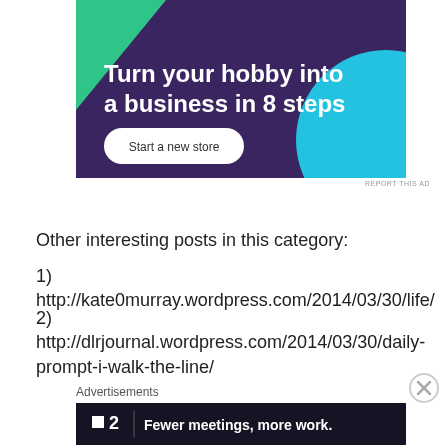[Figure (illustration): Advertisement banner with dark purple background. Green triangle in top-left, cyan circle in right side. White bold text reads 'Turn your hobby into a business in 8 steps'. White rounded rectangle button labeled 'Start a new store'.]
REPORT THIS AD
Other interesting posts in this category:
1) http://kate0murray.wordpress.com/2014/03/30/life/
2) http://dlrjournal.wordpress.com/2014/03/30/daily-prompt-i-walk-the-line/
Advertisements
[Figure (illustration): Dark navy advertisement banner with Planio/P2 logo (small white square + '2') and white bold text 'Fewer meetings, more work.']